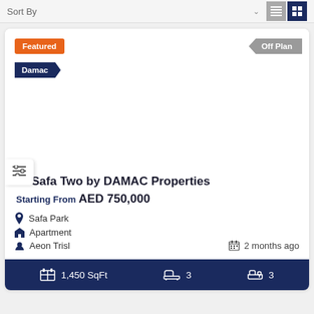Sort By
[Figure (screenshot): Property listing card for Safa Two by DAMAC Properties with Featured and Off Plan badges, Damac developer tag, image area, and property details]
Safa Two by DAMAC Properties
Starting From AED 750,000
Safa Park
Apartment
Aeon Trisl
2 months ago
1,450 SqFt   3   3